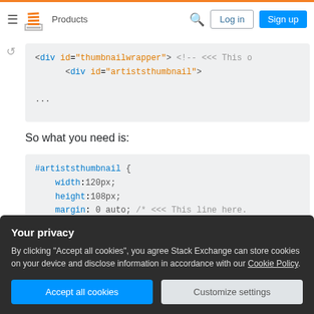Stack Exchange navigation: hamburger menu, logo, Products, search, Log in, Sign up
[Figure (screenshot): Code block showing HTML with div id='thumbnailwrapper' and div id='artiststhumbnail' and '...']
So what you need is:
[Figure (screenshot): Code block showing CSS: #artiststhumbnail { width:120px; height:108px; margin: 0 auto; /* <<< This line here. */]
Your privacy
By clicking "Accept all cookies", you agree Stack Exchange can store cookies on your device and disclose information in accordance with our Cookie Policy.
Accept all cookies   Customize settings